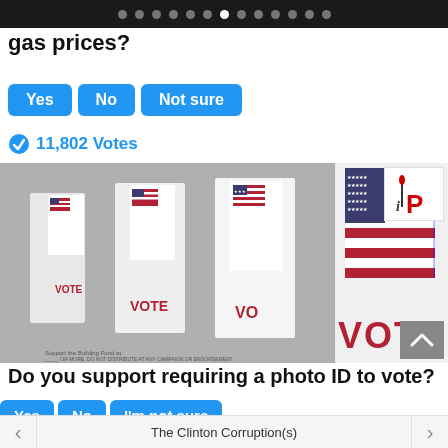navigation dots bar
gas prices?
Yes | No | Not sure
11,802 Votes
[Figure (photo): Voting booths with American flags and VOTE text visible on the dividers]
Do you support requiring a photo ID to vote?
Yes | No | I'm not sure
More of the Same from the 2016 C...
The Clinton Corruption(s)